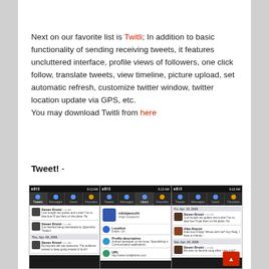Next on our favorite list is Twitli; In addition to basic functionality of sending receiving tweets, it features uncluttered interface, profile views of followers, one click follow, translate tweets, view timeline, picture upload, set automatic refresh, customize twitter window, twitter location update via GPS, etc.
You may download Twitli from here
Tweet! -
[Figure (screenshot): Three Android phone screenshots showing the Twitli Twitter app interface: timeline view with tweets from Steven Bristol, user profile view for vdobjanschi showing location and profile description, and a calendar/timeline view showing tweets organized by date.]